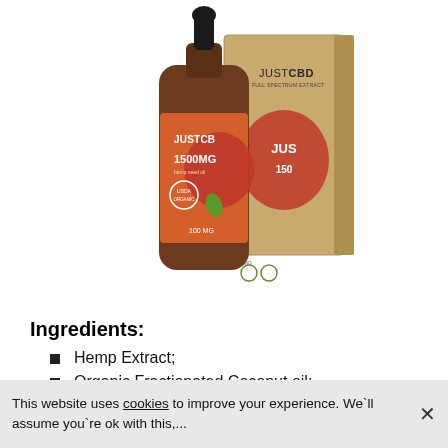[Figure (photo): JustCBD 1500mg CBD oil tincture bottle with dropper cap, amber glass bottle with orange/red label, beside its kraft cardboard box with JustCBD branding]
Ingredients:
Hemp Extract;
Organic Fractionated Coconut oil;
Organic Stevia;
This website uses cookies to improve your experience. We`ll assume you`re ok with this,...